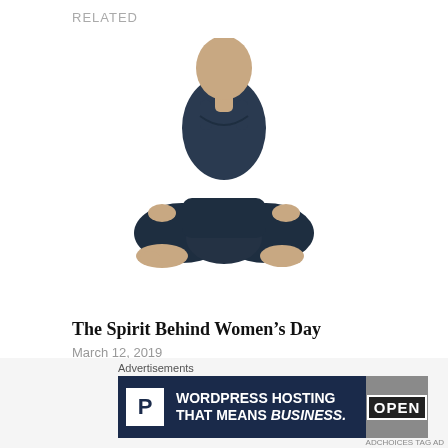RELATED
[Figure (photo): A woman sitting in a yoga lotus meditation pose, wearing a dark navy tank top and leggings, photographed from the neck down against a white background]
The Spirit Behind Women’s Day
March 12, 2019
In "Lifestyle"
[Figure (photo): Partial view of a person with blonde hair looking down, in an indoor setting]
Advertisements
[Figure (screenshot): Advertisement banner: WordPress Hosting That Means Business. Shows Pressable logo (P in white box) on dark navy background, with an OPEN sign image on right side]